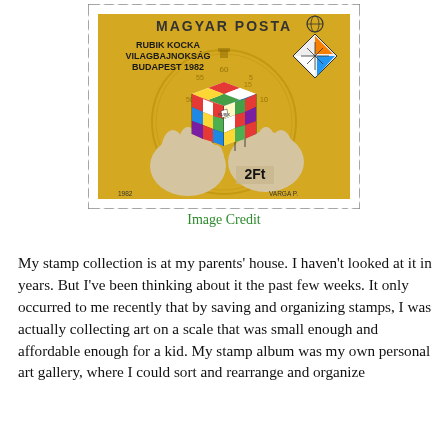[Figure (illustration): Hungarian postage stamp (Magyar Posta) featuring a Rubik's cube being held by two hands against a golden/yellow background with a stopwatch. Text on stamp reads: RUBIK KOCKA VILAGBAJNOKSÁG BUDAPEST 1982, denomination 2Ft, designer VARGA P., year 1982. Diamond-shaped Rubik's cube logo in upper right corner.]
Image Credit
My stamp collection is at my parents' house. I haven't looked at it in years. But I've been thinking about it the past few weeks. It only occurred to me recently that by saving and organizing stamps, I was actually collecting art on a scale that was small enough and affordable enough for a kid. My stamp album was my own personal art gallery, where I could sort and rearrange and organize